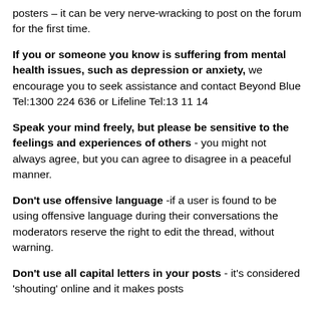posters – it can be very nerve-wracking to post on the forum for the first time.
If you or someone you know is suffering from mental health issues, such as depression or anxiety, we encourage you to seek assistance and contact Beyond Blue Tel:1300 224 636 or Lifeline Tel:13 11 14
Speak your mind freely, but please be sensitive to the feelings and experiences of others - you might not always agree, but you can agree to disagree in a peaceful manner.
Don't use offensive language -if a user is found to be using offensive language during their conversations the moderators reserve the right to edit the thread, without warning.
Don't use all capital letters in your posts - it's considered 'shouting' online and it makes posts